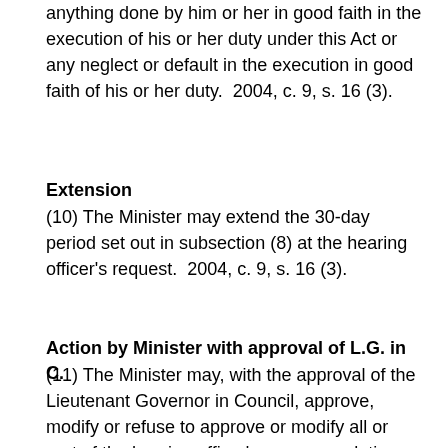anything done by him or her in good faith in the execution of his or her duty under this Act or any neglect or default in the execution in good faith of his or her duty.  2004, c. 9, s. 16 (3).
Extension
(10) The Minister may extend the 30-day period set out in subsection (8) at the hearing officer's request.  2004, c. 9, s. 16 (3).
Action by Minister with approval of L.G. in C.
(11) The Minister may, with the approval of the Lieutenant Governor in Council, approve, modify or refuse to approve or modify all or part of the hearing officer's recommendations.  2004, c. 9, s. 16 (3).